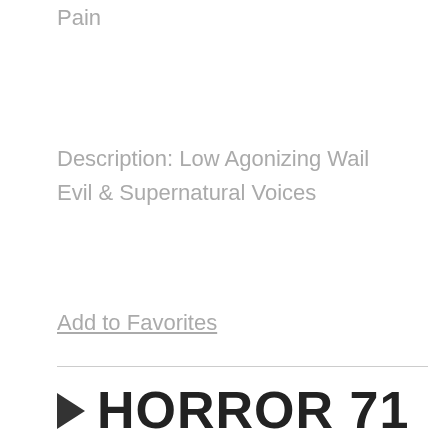...Horror Sound Effects, Voices in Pain
Description: Low Agonizing Wail
Evil & Supernatural Voices
Add to Favorites
HORROR 71
by Soundideas | wav | 0:06 |